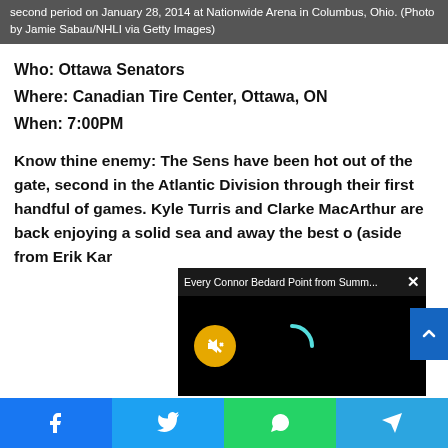second period on January 28, 2014 at Nationwide Arena in Columbus, Ohio. (Photo by Jamie Sabau/NHLI via Getty Images)
Who: Ottawa Senators
Where: Canadian Tire Center, Ottawa, ON
When: 7:00PM
Know thine enemy: The Sens have been hot out of the gate, second in the Atlantic Division through their first handful of games. Kyle Turris and Clarke MacArthur are back enjoying a solid sea and away the best o (aside from Erik Kar
[Figure (screenshot): Video overlay popup showing 'Every Connor Bedard Point from Summ...' with a mute button (yellow circle with mute icon) and a loading spinner arc on black background]
Facebook | Twitter | WhatsApp | Telegram social share buttons